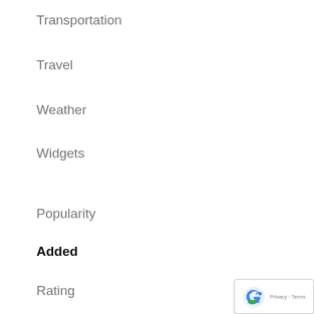Transportation
Travel
Weather
Widgets
Popularity
Added
Rating
All time
Today
Last week
[Figure (logo): reCAPTCHA badge with Privacy and Terms links]